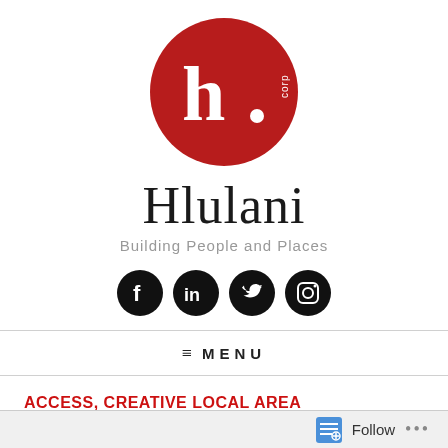[Figure (logo): Hlulani Corp logo — red circle with white 'h.' and small 'corp' text]
Hlulani
Building People and Places
[Figure (infographic): Four black circular social media icons: Facebook, LinkedIn, Twitter, Instagram]
≡ MENU
ACCESS, CREATIVE LOCAL AREA DEVELOPMENT PLANNING,
MOBILITY TRANSPORT EVENTS
November 10, 2016